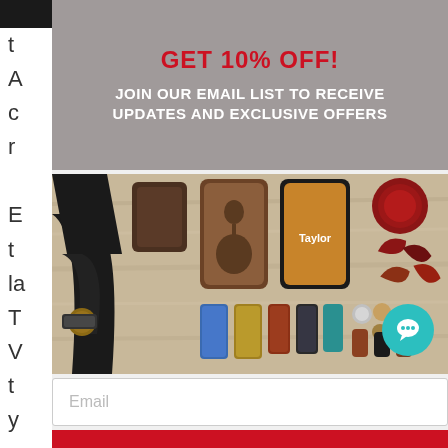GET 10% OFF!
JOIN OUR EMAIL LIST TO RECEIVE UPDATES AND EXCLUSIVE OFFERS
[Figure (photo): Product photo showing guitar accessories on a wooden surface: leather guitar strap with decorative inlay, phone cases (one wooden with guitar, one with Taylor branding), guitar picks, fingerpicks, tuning accessories, and other guitar accessories arranged on a light wood background.]
Email